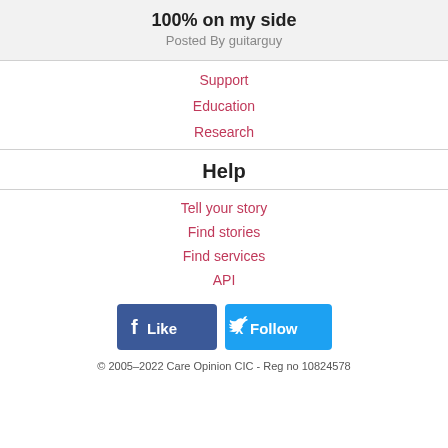100% on my side
Posted By guitarguy
Support
Education
Research
Help
Tell your story
Find stories
Find services
API
[Figure (other): Social media buttons: Facebook Like and Twitter Follow]
© 2005–2022 Care Opinion CIC - Reg no 10824578